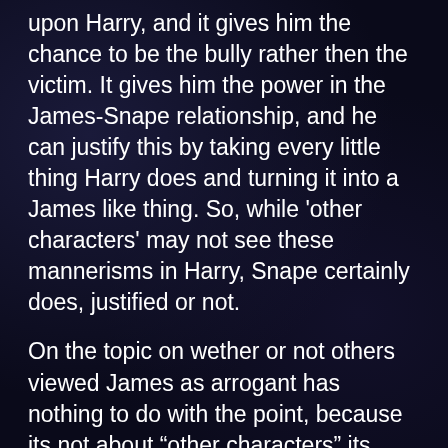upon Harry, and it gives him the chance to be the bully rather then the victim. It gives him the power in the James-Snape relationship, and he can justify this by taking every little thing Harry does and turning it into a James like thing. So, while 'other characters' may not see these mannerisms in Harry, Snape certainly does, justified or not.
On the topic on wether or not others viewed James as arrogant has nothing to do with the point, because its not about “other characters” its about how Snape feels, and asides, I do believe Remus, and possibly Serius have both had discussion with Harry about his father, and they do not deny that James was arrogant and a bully, – as they were as